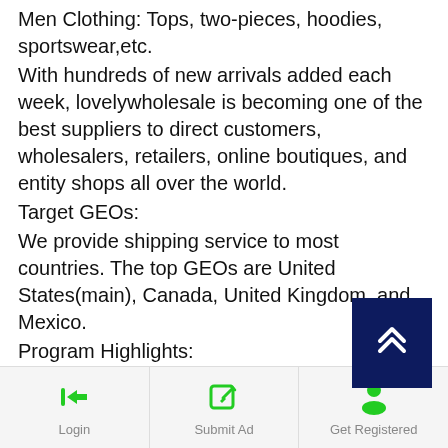Men Clothing: Tops, two-pieces, hoodies, sportswear,etc.
With hundreds of new arrivals added each week, lovelywholesale is becoming one of the best suppliers to direct customers, wholesalers, retailers, online boutiques, and entity shops all over the world.
Target GEOs:
We provide shipping service to most countries. The top GEOs are United States(main), Canada, United Kingdom, and Mexico.
Program Highlights:
• 30 day cookie duration
• XML-feed is available
• Exclusive coupons
• Stay informed of all the latest promotions
Login | Submit Ad | Get Registered